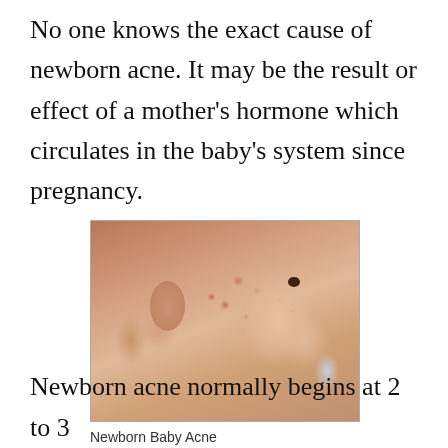No one knows the exact cause of newborn acne. It may be the result or effect of a mother's hormone which circulates in the baby's system since pregnancy.
[Figure (photo): Close-up photograph of a newborn baby's face showing acne/spots on the skin, seen from a slight angle, with the baby looking upward.]
Newborn Baby Acne
Newborn acne normally begins at 2 to 3